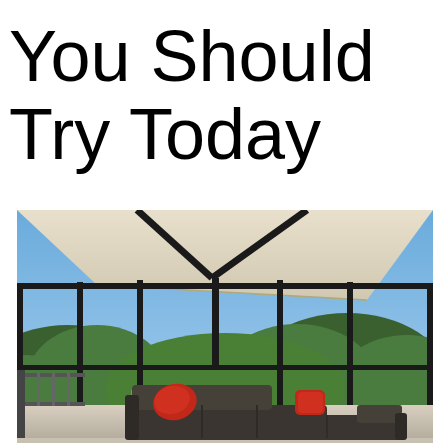You Should Try Today
[Figure (photo): Modern sunroom or enclosed balcony with floor-to-ceiling black-framed glass walls and ceiling, overlooking a lush green hillside under a blue sky with clouds. Interior features a dark grey L-shaped sectional sofa with red accent pillows, a side table, and a light-colored floor.]